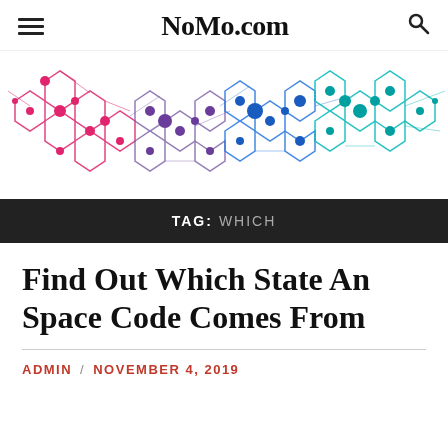NoMo.com
[Figure (illustration): Colorful network/molecular hexagonal chain illustration transitioning from pink/magenta on the left through purple in the middle to blue and teal/cyan on the right, with interconnected hexagons and nodes on a white background.]
TAG: WHICH
Find Out Which State An Space Code Comes From
ADMIN / NOVEMBER 4, 2019